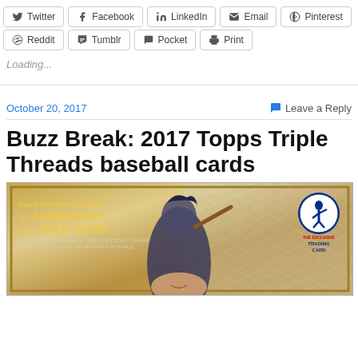[Figure (other): Social share buttons row 1: Twitter, Facebook, LinkedIn, Email, Pinterest]
[Figure (other): Social share buttons row 2: Reddit, Tumblr, Pocket, Print]
Loading...
October 20, 2017
Leave a Reply
Buzz Break: 2017 Topps Triple Threads baseball cards
[Figure (photo): 2017 Topps Triple Threads baseball card product image showing a baseball player in Yankees uniform with text: Every Mini-Box contains an AUTOGRAPH* and a RELIC CARD! with MLB Trading Card logo badge]